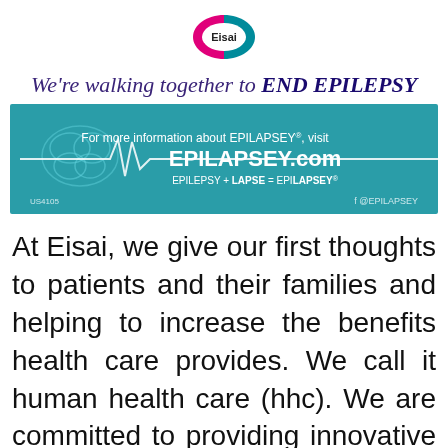[Figure (logo): Eisai company logo — oval shape with pink and teal halves, 'Eisai' text in center]
We're walking together to END EPILEPSY
[Figure (infographic): Teal banner with brain and EKG line graphic. Text: 'For more information about EPILAPSEY®, visit EPILAPSEY.com  EPILEPSY + LAPSE = EPILAPSEY®  US4105  @EPILAPSEY']
At Eisai, we give our first thoughts to patients and their families and helping to increase the benefits health care provides. We call it human health care (hhc). We are committed to providing innovative approaches that help those patients